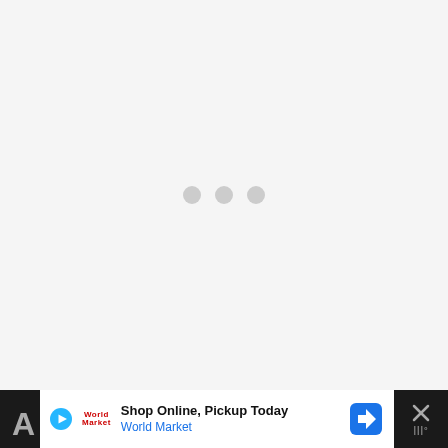[Figure (other): Loading spinner with three light gray dots centered on a light gray background]
[Figure (other): Advertisement banner: Shop Online, Pickup Today - World Market. Contains play button icon, World Market logo in red, blue navigation arrow icon, and close button with X on dark background bar.]